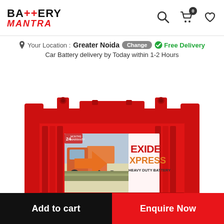BATTERY MANTRA
Your Location : Greater Noida Change  Free Delivery
Car Battery delivery by Today within 1-2 Hours
[Figure (photo): Exide Xpress Heavy Duty Battery product image - red colored car/truck battery with Exide Xpress branding and a truck image on the label]
Add to cart
Enquire Now